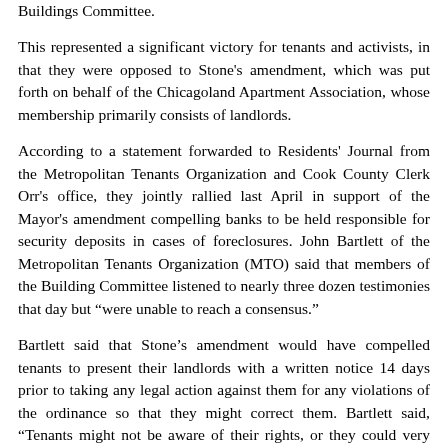Buildings Committee.
This represented a significant victory for tenants and activists, in that they were opposed to Stone's amendment, which was put forth on behalf of the Chicagoland Apartment Association, whose membership primarily consists of landlords.
According to a statement forwarded to Residents' Journal from the Metropolitan Tenants Organization and Cook County Clerk Orr's office, they jointly rallied last April in support of the Mayor's amendment compelling banks to be held responsible for security deposits in cases of foreclosures. John Bartlett of the Metropolitan Tenants Organization (MTO) said that members of the Building Committee listened to nearly three dozen testimonies that day but “were unable to reach a consensus.”
Bartlett said that Stone’s amendment would have compelled tenants to present their landlords with a written notice 14 days prior to taking any legal action against them for any violations of the ordinance so that they might correct them. Bartlett said, “Tenants might not be aware of their rights, or they could very well forget. Not only that, landlords are expected to know the laws related to their business and